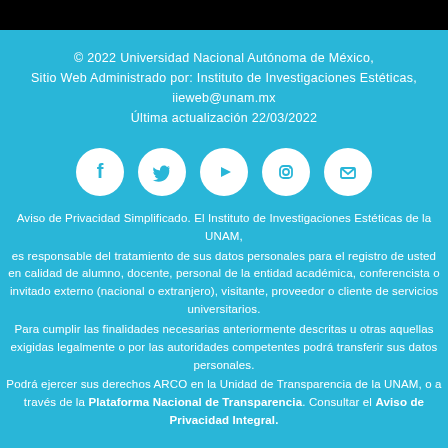© 2022 Universidad Nacional Autónoma de México,
Sitio Web Administrado por: Instituto de Investigaciones Estéticas,
iieweb@unam.mx
Última actualización 22/03/2022
[Figure (illustration): Five social media icons in white circles: Facebook, Twitter, Play/YouTube, Instagram, Email]
Aviso de Privacidad Simplificado. El Instituto de Investigaciones Estéticas de la UNAM, es responsable del tratamiento de sus datos personales para el registro de usted en calidad de alumno, docente, personal de la entidad académica, conferencista o invitado externo (nacional o extranjero), visitante, proveedor o cliente de servicios universitarios. Para cumplir las finalidades necesarias anteriormente descritas u otras aquellas exigidas legalmente o por las autoridades competentes podrá transferir sus datos personales. Podrá ejercer sus derechos ARCO en la Unidad de Transparencia de la UNAM, o a través de la Plataforma Nacional de Transparencia. Consultar el Aviso de Privacidad Integral.